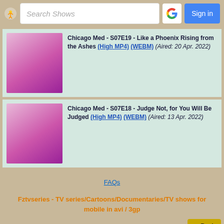Search Shows | Sign in
Chicago Med - S07E19 - Like a Phoenix Rising from the Ashes (High MP4) (WEBM) (Aired: 20 Apr. 2022)
Chicago Med - S07E18 - Judge Not, for You Will Be Judged (High MP4) (WEBM) (Aired: 13 Apr. 2022)
FAQs
Fztvseries - TV series/Cartoons/Documentaries/TV shows for mobile in avi / 3gp
<<Back